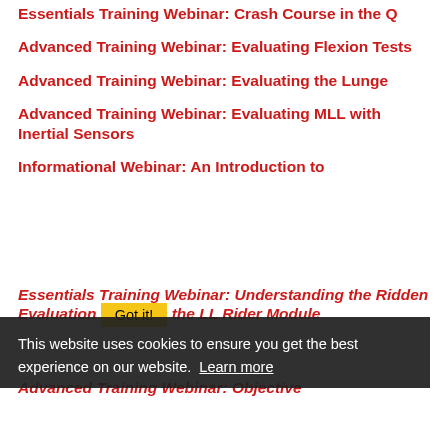Essentials Training Webinar: Crash Course in the Q
Advanced Training Webinar: Evaluating Flexion Tests
Advanced Training Webinar: Evaluating the Lunge
Advanced Training Webinar: Evaluating MLL with Inertial Sensors
Informational Webinar: An Introduction to ...
Essentials Training Webinar: Understanding the Ridden Evaluation ... the LL Rider Module
Advanced Training Webinar: Objective
This website uses cookies to ensure you get the best experience on our website. Learn more
Got it!